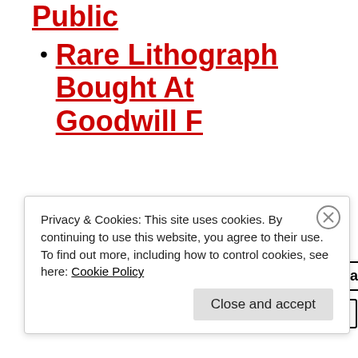Public
Rare Lithograph Bought At Goodwill F
3D Forensics  analysis  Animation  Arson Investigation  crime scene investigation  death investigation  death investigations
Privacy & Cookies: This site uses cookies. By continuing to use this website, you agree to their use. To find out more, including how to control cookies, see here: Cookie Policy